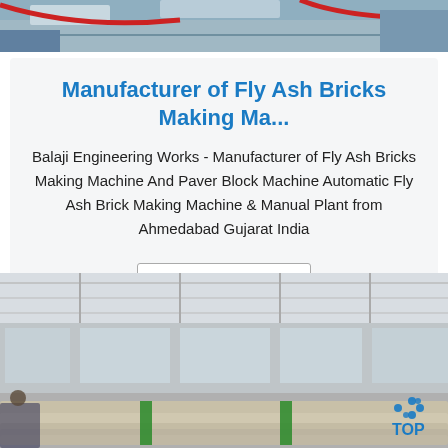[Figure (photo): Partial top view of machinery or industrial equipment, blue and red tones visible at top of page]
Manufacturer of Fly Ash Bricks Making Ma...
Balaji Engineering Works - Manufacturer of Fly Ash Bricks Making Machine And Paver Block Machine Automatic Fly Ash Brick Making Machine & Manual Plant from Ahmedabad Gujarat India
Get Price
[Figure (photo): Industrial warehouse interior with steel pipes bundled with green straps; a worker visible in lower left; TOP logo visible in lower right]